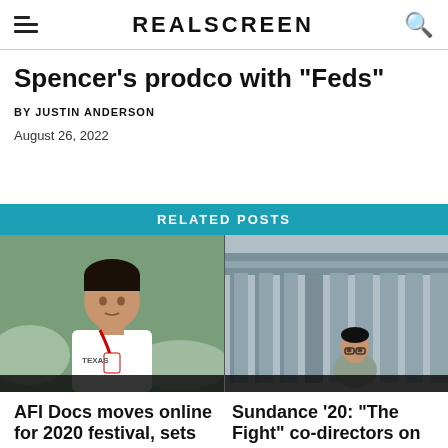REALSCREEN
Spencer's prodco with "Feds"
BY JUSTIN ANDERSON
August 26, 2022
RELATED POSTS
[Figure (photo): Young man in white shirt with red lanyard looking at camera, crowd in background]
[Figure (photo): Person in grey jacket looking up at a classical building with large columns]
AFI Docs moves online for 2020 festival, sets
Sundance '20: "The Fight" co-directors on